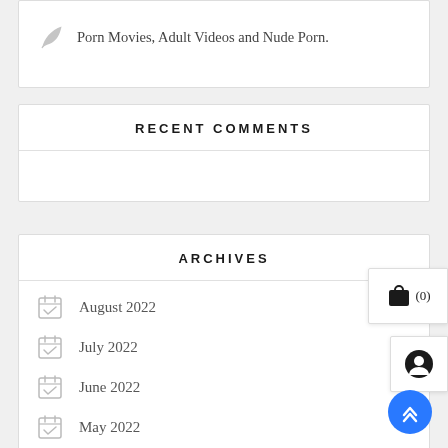Porn Movies, Adult Videos and Nude Porn.
RECENT COMMENTS
ARCHIVES
August 2022
July 2022
June 2022
May 2022
April 2022
March 2022